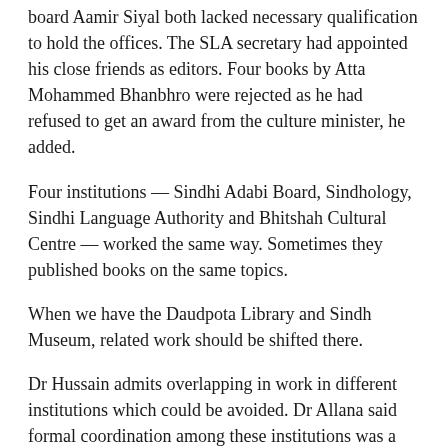board Aamir Siyal both lacked necessary qualification to hold the offices. The SLA secretary had appointed his close friends as editors. Four books by Atta Mohammed Bhanbhro were rejected as he had refused to get an award from the culture minister, he added.
Four institutions — Sindhi Adabi Board, Sindhology, Sindhi Language Authority and Bhitshah Cultural Centre — worked the same way. Sometimes they published books on the same topics.
When we have the Daudpota Library and Sindh Museum, related work should be shifted there.
Dr Hussain admits overlapping in work in different institutions which could be avoided. Dr Allana said formal coordination among these institutions was a must to avoid overlapping.
General secretary of the Sindhi Adabi Sangat Dr Mushtaq Phul